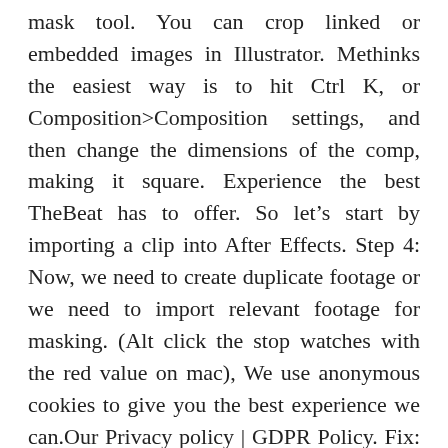mask tool. You can crop linked or embedded images in Illustrator. Methinks the easiest way is to hit Ctrl K, or Composition>Composition settings, and then change the dimensions of the comp, making it square. Experience the best TheBeat has to offer. So let's start by importing a clip into After Effects. Step 4: Now, we need to create duplicate footage or we need to import relevant footage for masking. (Alt click the stop watches with the red value on mac), We use anonymous cookies to give you the best experience we can.Our Privacy policy | GDPR Policy. Fix: Auto Crop now works with After Effects in any language; Version 1.01. Luckily, as you'll see in this After Effects quick tip, there's a really easy way to crop comps down. Step 6: Here a ball traveling from one side to another indicates time. How do I crop a layer in After Effects? These are the customization that you can make: Add border to the circle image. (see this